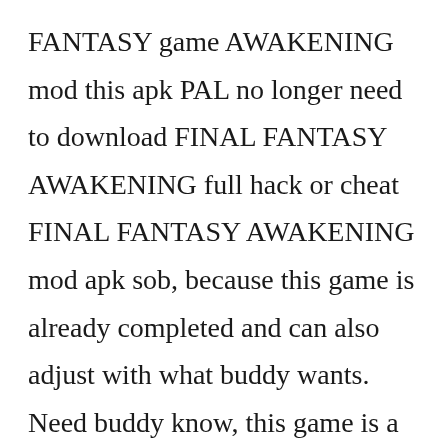FANTASY game AWAKENING mod this apk PAL no longer need to download FINAL FANTASY AWAKENING full hack or cheat FINAL FANTASY AWAKENING mod apk sob, because this game is already completed and can also adjust with what buddy wants. Need buddy know, this game is a game that good quality or has a very clear hd graphics sob, so reasonable if this game is online gaming. Well for it if buddy want to play this game is PAL should be connected first with a